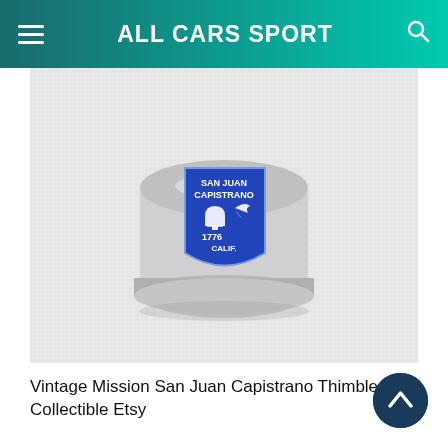ALL CARS SPORT
[Figure (photo): A silver thimble with a blue enamel shield bearing 'SAN JUAN CAPISTRANO' with a bell and bird motif and '1776 CALIF.' text, resting on white fabric.]
Vintage Mission San Juan Capistrano Thimble Collectible Etsy